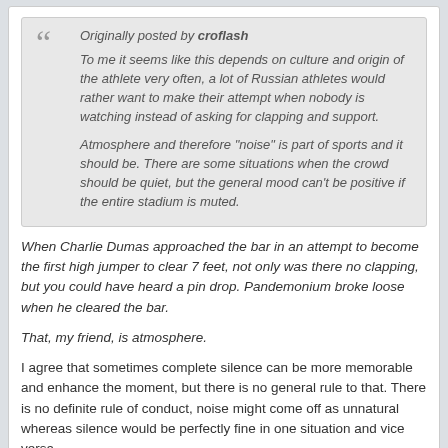Originally posted by croflash
To me it seems like this depends on culture and origin of the athlete very often, a lot of Russian athletes would rather want to make their attempt when nobody is watching instead of asking for clapping and support.

Atmosphere and therefore "noise" is part of sports and it should be. There are some situations when the crowd should be quiet, but the general mood can't be positive if the entire stadium is muted.
When Charlie Dumas approached the bar in an attempt to become the first high jumper to clear 7 feet, not only was there no clapping, but you could have heard a pin drop. Pandemonium broke loose when he cleared the bar.

That, my friend, is atmosphere.
I agree that sometimes complete silence can be more memorable and enhance the moment, but there is no general rule to that. There is no definite rule of conduct, noise might come off as unnatural whereas silence would be perfectly fine in one situation and vice versa.
tandfman